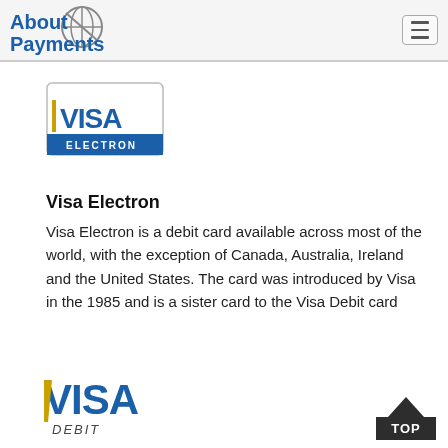About Payments
[Figure (logo): Visa Electron card logo: white card with blue stripe at bottom reading ELECTRON, VISA text in blue]
Visa Electron
Visa Electron is a debit card available across most of the world, with the exception of Canada, Australia, Ireland and the United States. The card was introduced by Visa in the 1985 and is a sister card to the Visa Debit card
[Figure (logo): Visa Debit logo: blue VISA text with gold left serif, DEBIT in italic below]